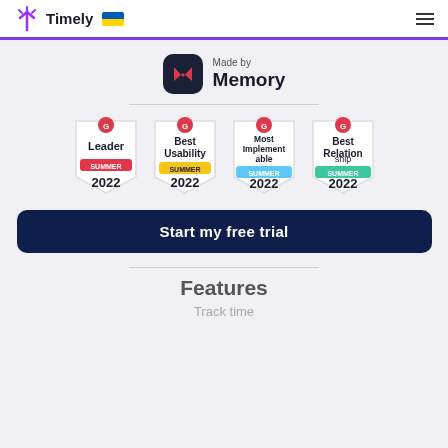Timely
[Figure (logo): Made by Memory logo — dark rounded square icon with bowtie/M symbol in red, text 'Made by Memory']
[Figure (infographic): Four G2 badges: Leader Summer 2022 (red bar), Best Usability Summer 2022 (yellow bar), Most Implementable Summer 2022 (blue bar), Best Relationship Summer 2022 (teal bar)]
Start my free trial
Features
Track time